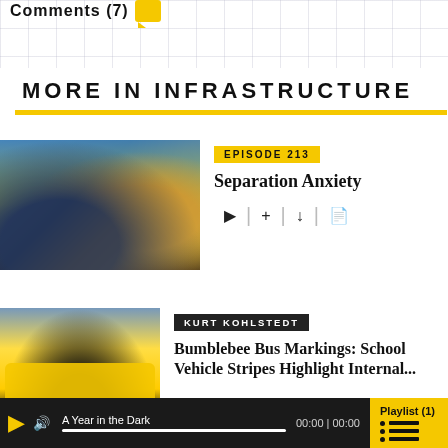Comments (7)
MORE IN INFRASTRUCTURE
[Figure (photo): Photo of a crowded infrastructure/construction scene with blue signage and yellow machinery]
EPISODE 213
Separation Anxiety
[Figure (photo): Photo of a yellow school bus on a road]
KURT KOHLSTEDT
Bumblebee Bus Markings: School Vehicle Stripes Highlight Internal...
A Year in the Dark  00:00 | 00:00  Playlist (1)